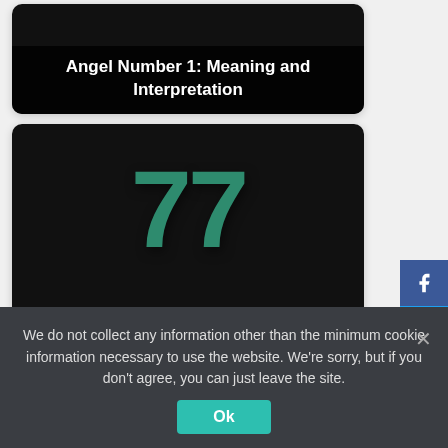[Figure (screenshot): Card with black background showing 'Angel Number 1: Meaning and Interpretation' title in white text on dark overlay]
[Figure (screenshot): Card with black background and large teal '77' number, with title 'Angel Number 77: Meaning and Interpretation']
[Figure (screenshot): Card with black background showing partial large teal '29' number at bottom of page]
[Figure (screenshot): Social media sidebar buttons: Facebook, Twitter, LinkedIn, Pinterest, Reddit]
We do not collect any information other than the minimum cookie information necessary to use the website. We're sorry, but if you don't agree, you can just leave the site.